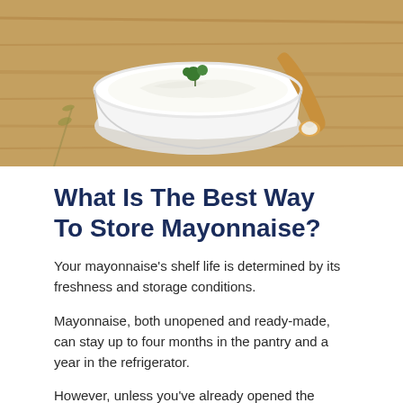[Figure (photo): A white bowl of creamy mayonnaise garnished with a parsley sprig, placed on a wooden cutting board with a wooden spoon holding a garlic clove nearby.]
What Is The Best Way To Store Mayonnaise?
Your mayonnaise's shelf life is determined by its freshness and storage conditions.
Mayonnaise, both unopened and ready-made, can stay up to four months in the pantry and a year in the refrigerator.
However, unless you've already opened the package or it's been contaminated by other food